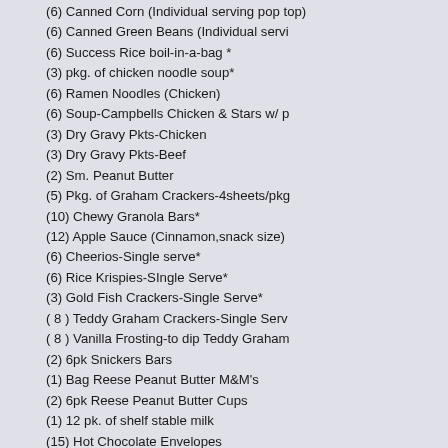(6) Canned Corn (Individual serving pop top)
(6) Canned Green Beans (Individual servi…
(6) Success Rice boil-in-a-bag *
(3) pkg. of chicken noodle soup*
(6) Ramen Noodles (Chicken)
(6) Soup-Campbells Chicken & Stars w/ p…
(3) Dry Gravy Pkts-Chicken
(3) Dry Gravy Pkts-Beef
(2) Sm. Peanut Butter
(5) Pkg. of Graham Crackers-4sheets/pkg…
(10) Chewy Granola Bars*
(12) Apple Sauce (Cinnamon,snack size)
(6) Cheerios-Single serve*
(6) Rice Krispies-SIngle Serve*
(3) Gold Fish Crackers-Single Serve*
( 8 ) Teddy Graham Crackers-Single Serv…
( 8 ) Vanilla Frosting-to dip Teddy Graham…
(2) 6pk Snickers Bars
(1) Bag Reese Peanut Butter M&M's
(2) 6pk Reese Peanut Butter Cups
(1) 12 pk. of shelf stable milk
(15) Hot Chocolate Envelopes
(60) Tea Bags - 3 20/pk packages*
(6) Gatorade-32 oz bottles (had to pack in Tote was already heavy!)